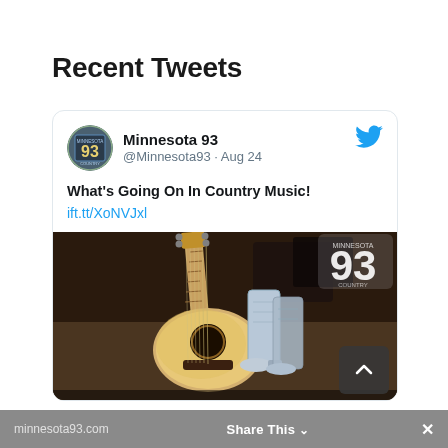Recent Tweets
[Figure (screenshot): Tweet from Minnesota 93 (@Minnesota93) posted on Aug 24 with text 'What's Going On In Country Music!' and link ift.tt/XoNVJxl, showing an image of an acoustic guitar and cowboy boots with the number 93 logo overlay.]
minnesota93.com  Share This  ×